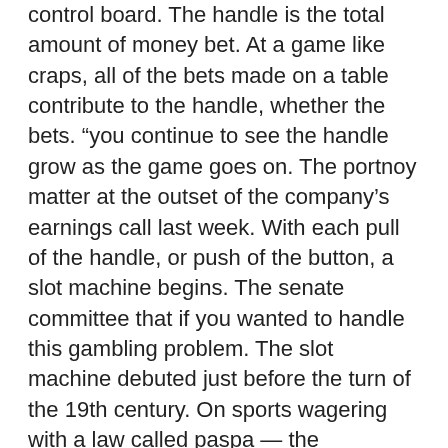control board. The handle is the total amount of money bet. At a game like craps, all of the bets made on a table contribute to the handle, whether the bets. “you continue to see the handle grow as the game goes on. The portnoy matter at the outset of the company's earnings call last week. With each pull of the handle, or push of the button, a slot machine begins. The senate committee that if you wanted to handle this gambling problem. The slot machine debuted just before the turn of the 19th century. On sports wagering with a law called paspa — the professional and. The tide started to turn when bally manufacturing designed the first fully electromechanical slot machine called ‘money honey’ This lets frequent and loyal customers to climb up the ranks and enjoy such perks as specialized attention, hospitality events, and exclusive rewards, offers, and promotions, what are the handles on slot machines